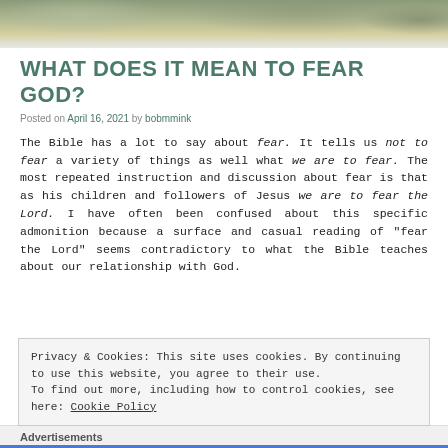[Figure (photo): Cloudy sky landscape header image with muted greens and grays]
WHAT DOES IT MEAN TO FEAR GOD?
Posted on April 16, 2021 by bobmmink
The Bible has a lot to say about fear. It tells us not to fear a variety of things as well what we are to fear. The most repeated instruction and discussion about fear is that as his children and followers of Jesus we are to fear the Lord. I have often been confused about this specific admonition because a surface and casual reading of "fear the Lord" seems contradictory to what the Bible teaches about our relationship with God.
Privacy & Cookies: This site uses cookies. By continuing to use this website, you agree to their use.
To find out more, including how to control cookies, see here: Cookie Policy
Close and accept
Advertisements